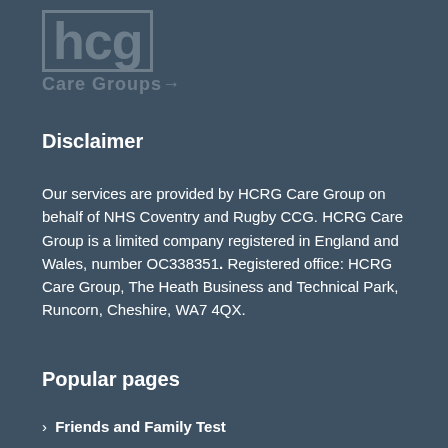[Figure (logo): HCRG Care Group logo watermark in top-left corner, semi-transparent white]
Disclaimer
Our services are provided by HCRG Care Group on behalf of NHS Coventry and Rugby CCG. HCRG Care Group is a limited company registered in England and Wales, number OC338351. Registered office: HCRG Care Group, The Heath Business and Technical Park, Runcorn, Cheshire, WA7 4QX.
Popular pages
› Friends and Family Test